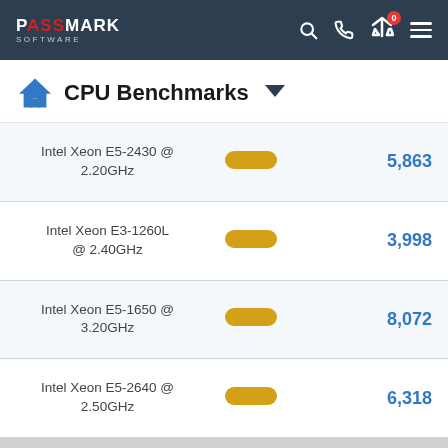PassMark Software
CPU Benchmarks
| CPU | Bar | Score |
| --- | --- | --- |
| Intel Xeon E5-2430 @ 2.20GHz |  | 5,863 |
| Intel Xeon E3-1260L @ 2.40GHz |  | 3,998 |
| Intel Xeon E5-1650 @ 3.20GHz |  | 8,072 |
| Intel Xeon E5-2640 @ 2.50GHz |  | 6,318 |